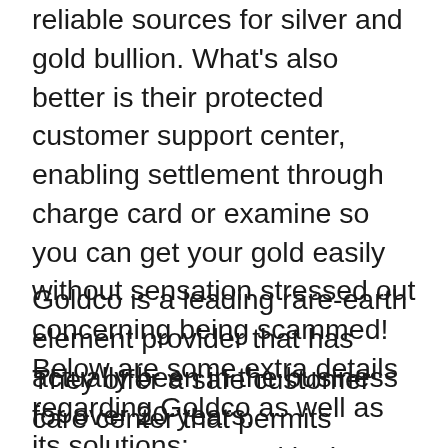reliable sources for silver and gold bullion. What's also better is their protected customer support center, enabling settlement through charge card or examine so you can get your gold easily without sensation stressed out concerning being scammed! Below are some extra details regarding Goldco as well as its solutions:
Goldco is a leading rare-earth element provider that has actually been in the business for over 20 years.
They offer a safe customer care center that permits customers to pay with charge card or check.
Goldco thinks that your money must be